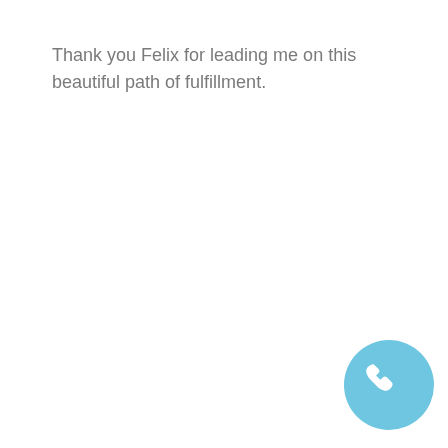Thank you Felix for leading me on this beautiful path of fulfillment.
[Figure (illustration): A light blue circle containing a white telephone handset icon, positioned in the bottom-right corner of the page.]